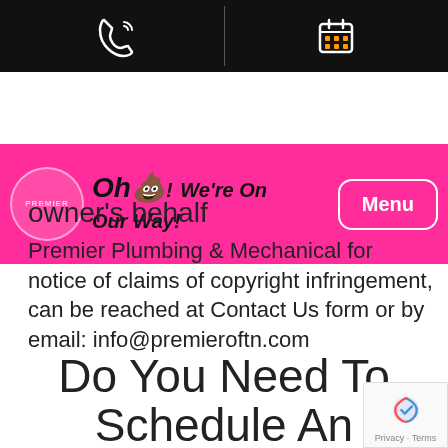[Figure (screenshot): Black top navigation bar with phone icon on left and calendar icon on right, separated by a vertical divider]
[Figure (logo): Premier Plumbing pink nav bar with circular logo, 'Oh [poop emoji]! We're On Our Way!' branding text in bold italic, and a white-bordered Menu button]
owner's behalf
Premier Plumbing & Mechanical for notice of claims of copyright infringement, can be reached at Contact Us form or by email: info@premieroftn.com
[Figure (screenshot): Pink chat bubble popup with text 'Hi [wave emoji]! Have a Question? Text us now.' and an X close button]
Do You Need To Schedule An